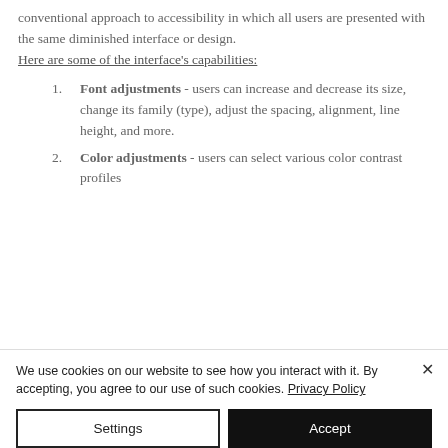conventional approach to accessibility in which all users are presented with the same diminished interface or design.
Here are some of the interface's capabilities:
Font adjustments - users can increase and decrease its size, change its family (type), adjust the spacing, alignment, line height, and more.
Color adjustments - users can select various color contrast profiles
We use cookies on our website to see how you interact with it. By accepting, you agree to our use of such cookies. Privacy Policy
Settings | Accept